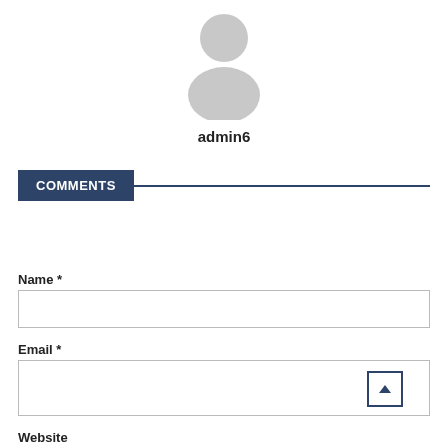[Figure (illustration): Gray default user avatar icon showing silhouette of a person]
admin6
COMMENTS
Name *
Email *
Website